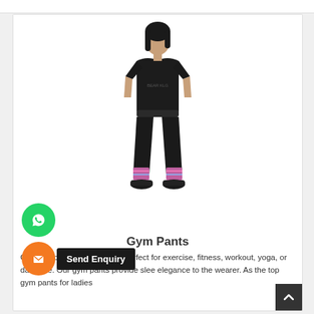[Figure (photo): A woman wearing black gym outfit with colorful patterned panels at the ankles and black sneakers, posing against a white background.]
Gym Pants
Our gym pants for ladies are perfect for exercise, fitness, workout, yoga, or daily use. Our gym pants provide slee elegance to the wearer. As the top gym pants for ladies